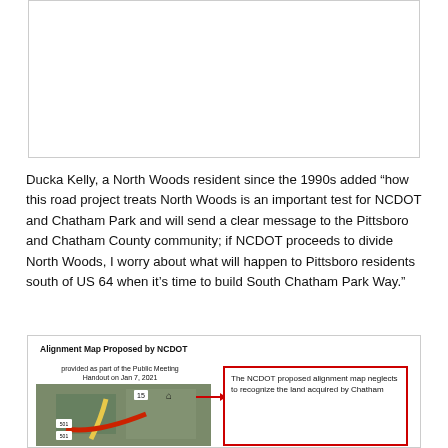[Figure (other): Cropped/blank image area at top of page (continuation from previous page)]
Ducka Kelly, a North Woods resident since the 1990s added “how this road project treats North Woods is an important test for NCDOT and Chatham Park and will send a clear message to the Pittsboro and Chatham County community; if NCDOT proceeds to divide North Woods, I worry about what will happen to Pittsboro residents south of US 64 when it’s time to build South Chatham Park Way.”
[Figure (map): Alignment Map Proposed by NCDOT, provided as part of the Public Meeting Handout on Jan 7, 2021. Shows road alignment map with annotation box reading: The NCDOT proposed alignment map neglects to recognize the land acquired by Chatham [continues]]